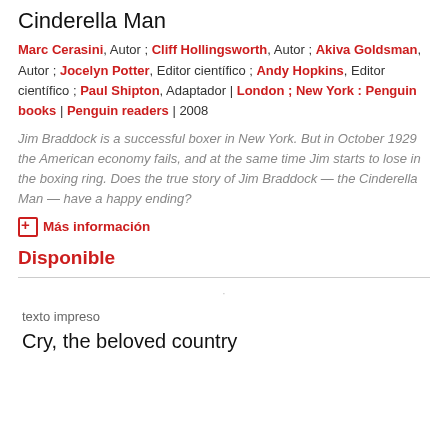Cinderella Man
Marc Cerasini, Autor ; Cliff Hollingsworth, Autor ; Akiva Goldsman, Autor ; Jocelyn Potter, Editor científico ; Andy Hopkins, Editor científico ; Paul Shipton, Adaptador | London ; New York : Penguin books | Penguin readers | 2008
Jim Braddock is a successful boxer in New York. But in October 1929 the American economy fails, and at the same time Jim starts to lose in the boxing ring. Does the true story of Jim Braddock — the Cinderella Man — have a happy ending?
⊞ Más información
Disponible
texto impreso
Cry, the beloved country